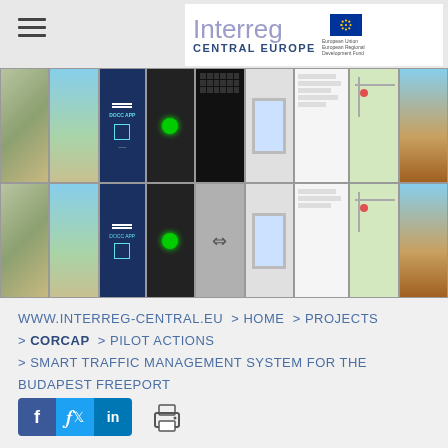[Figure (screenshot): Interreg Central Europe logo with EU flag on white background, hamburger menu icon on left]
[Figure (photo): Photo collage showing traffic management kiosks, mobile app screenshots with DOCC APP interface, traffic signal images, map views, and outdoor intelligent transport system displays]
WWW.INTERREG-CENTRAL.EU > HOME > PROJECTS > CORCAP > PILOT ACTIONS > SMART TRAFFIC MANAGEMENT SYSTEM FOR THE BUDAPEST FREEPORT
[Figure (other): Social media icons: Facebook, Twitter, LinkedIn buttons and a print icon]